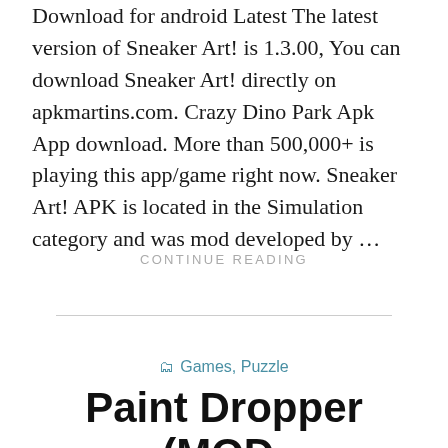Download for android Latest The latest version of Sneaker Art! is 1.3.00, You can download Sneaker Art! directly on apkmartins.com. Crazy Dino Park Apk App download. More than 500,000+ is playing this app/game right now. Sneaker Art! APK is located in the Simulation category and was mod developed by …
CONTINUE READING
Games, Puzzle
Paint Dropper (MOD, Unlimited Money) 2.0.3